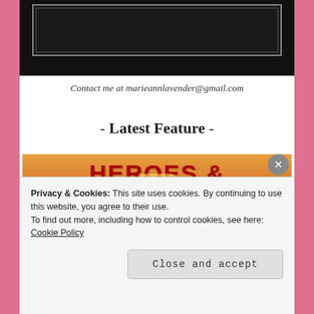[Figure (illustration): Dark decorative header image with ornate border on black background]
Contact me at marieannlavender@gmail.com
- Latest Feature -
[Figure (illustration): Heroes & Heroines banner with orange/golden gradient background, red bold text, and silhouette of a person]
Privacy & Cookies: This site uses cookies. By continuing to use this website, you agree to their use.
To find out more, including how to control cookies, see here: Cookie Policy
Close and accept